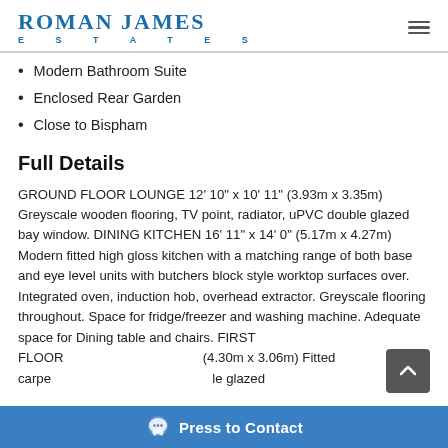Roman James Estates
Modern Bathroom Suite
Enclosed Rear Garden
Close to Bispham
Full Details
GROUND FLOOR LOUNGE 12' 10" x 10' 11" (3.93m x 3.35m) Greyscale wooden flooring, TV point, radiator, uPVC double glazed bay window. DINING KITCHEN 16' 11" x 14' 0" (5.17m x 4.27m) Modern fitted high gloss kitchen with a matching range of both base and eye level units with butchers block style worktop surfaces over. Integrated oven, induction hob, overhead extractor. Greyscale flooring throughout. Space for fridge/freezer and washing machine. Adequate space for Dining table and chairs. FIRST FLOOR ... (4.30m x 3.06m) Fitted carpe... ...le glazed